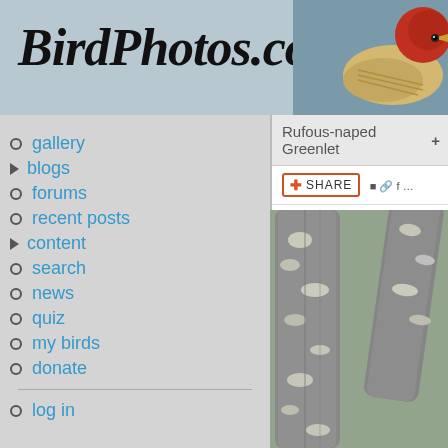BirdPhotos.com
[Figure (photo): Bird photo - woodpecker with red head and yellow beak in top right header]
gallery
blogs
forums
recent posts
content
search
news
quiz
my birds
donate
log in
Rufous-naped Greenlet
Rufous-naped Greenlet (Pachy... Photo by Tom Friedel  All  - La...
first  previous (Rufous-br...
[Figure (photo): Close-up photo of tree branches/trunk with lichen, blurred green background - bird photo on BirdPhotos.com]